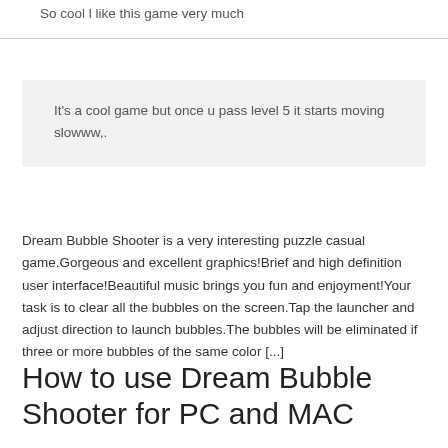So cool I like this game very much
It's a cool game but once u pass level 5 it starts moving slowww,.
Dream Bubble Shooter is a very interesting puzzle casual game.Gorgeous and excellent graphics!Brief and high definition user interface!Beautiful music brings you fun and enjoyment!Your task is to clear all the bubbles on the screen.Tap the launcher and adjust direction to launch bubbles.The bubbles will be eliminated if three or more bubbles of the same color [...]
How to use Dream Bubble Shooter for PC and MAC